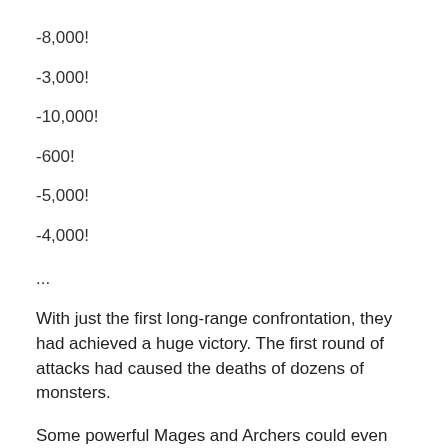-8,000!
-3,000!
-10,000!
-600!
-5,000!
-4,000!
...
With just the first long-range confrontation, they had achieved a huge victory. The first round of attacks had caused the deaths of dozens of monsters.
Some powerful Mages and Archers could even kill five